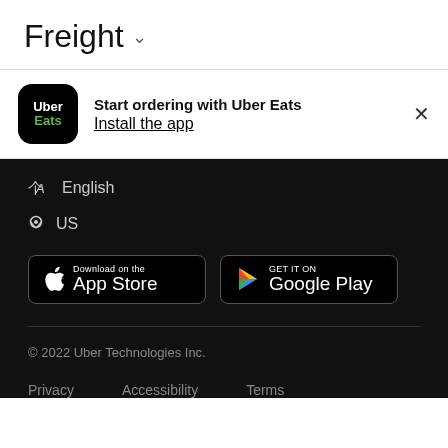Freight
Start ordering with Uber Eats
Install the app
English
US
[Figure (screenshot): Download on the App Store button and GET IT ON Google Play button]
© 2022 Uber Technologies Inc.
Privacy   Accessibility   Terms